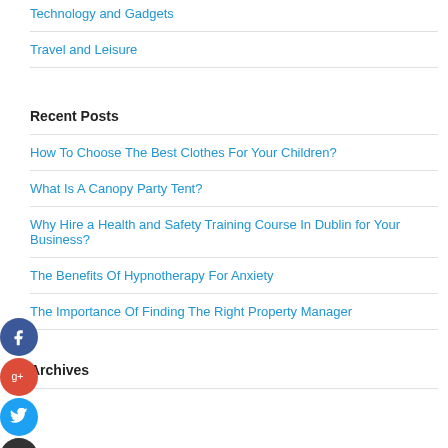Technology and Gadgets
Travel and Leisure
Recent Posts
How To Choose The Best Clothes For Your Children?
What Is A Canopy Party Tent?
Why Hire a Health and Safety Training Course In Dublin for Your Business?
The Benefits Of Hypnotherapy For Anxiety
The Importance Of Finding The Right Property Manager
Archives